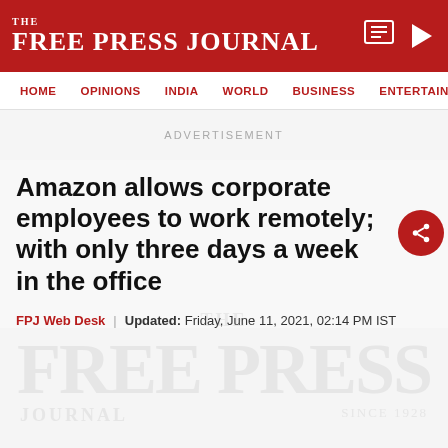THE FREE PRESS JOURNAL
HOME | OPINIONS | INDIA | WORLD | BUSINESS | ENTERTAIN
ADVERTISEMENT
Amazon allows corporate employees to work remotely; with only three days a week in the office
FPJ Web Desk | Updated: Friday, June 11, 2021, 02:14 PM IST